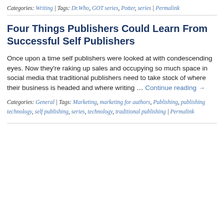Categories: Writing | Tags: Dr.Who, GOT series, Potter, series | Permalink
Four Things Publishers Could Learn From Successful Self Publishers
Once upon a time self publishers were looked at with condescending eyes. Now they're raking up sales and occupying so much space in social media that traditional publishers need to take stock of where their business is headed and where writing ... Continue reading →
Categories: General | Tags: Marketing, marketing for authors, Publishing, publishing technology, self publishing, series, technology, traditional publishing | Permalink